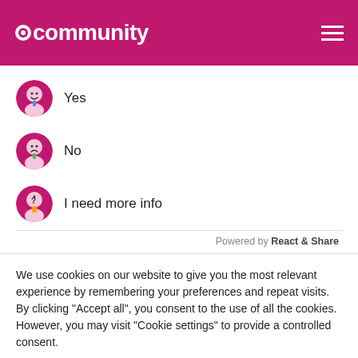community
Yes
No
I need more info
Powered by React & Share
We use cookies on our website to give you the most relevant experience by remembering your preferences and repeat visits. By clicking "Accept all", you consent to the use of all the cookies. However, you may visit "Cookie settings" to provide a controlled consent.
Cookie settings | Accept all